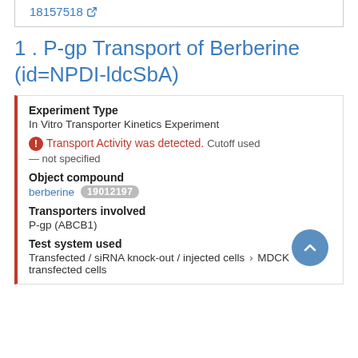18157518
1 . P-gp Transport of Berberine (id=NPDI-ldcSbA)
Experiment Type
In Vitro Transporter Kinetics Experiment
Transport Activity was detected.  Cutoff used — not specified
Object compound
berberine  19012197
Transporters involved
P-gp (ABCB1)
Test system used
Transfected / siRNA knock-out / injected cells > MDCK transfected cells